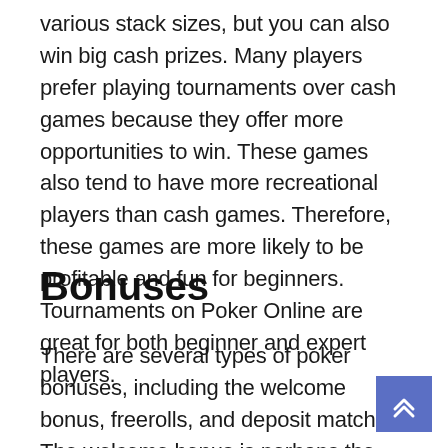various stack sizes, but you can also win big cash prizes. Many players prefer playing tournaments over cash games because they offer more opportunities to win. These games also tend to have more recreational players than cash games. Therefore, these games are more likely to be profitable and fun for beginners. Tournaments on Poker Online are great for both beginner and expert players.
Bonuses
There are several types of poker bonuses, including the welcome bonus, freerolls, and deposit matches. The welcome bonus is perhaps the most common form of poker